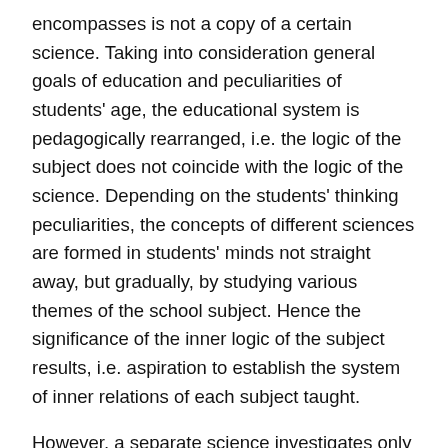encompasses is not a copy of a certain science. Taking into consideration general goals of education and peculiarities of students' age, the educational system is pedagogically rearranged, i.e. the logic of the subject does not coincide with the logic of the science. Depending on the students' thinking peculiarities, the concepts of different sciences are formed in students' minds not straight away, but gradually, by studying various themes of the school subject. Hence the significance of the inner logic of the subject results, i.e. aspiration to establish the system of inner relations of each subject taught.
However, a separate science investigates only a small part of the world, so studying a school subject introduces students to a separate part of the reality. A full view of life and reality is perceived by students by learning different school subjects and connecting all kinds of knowledge into one whole.
The content analysis of various school subjects reveals that